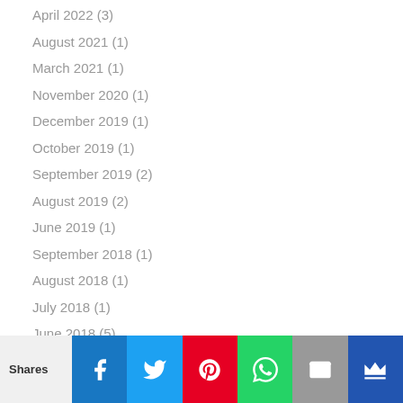April 2022 (3)
August 2021 (1)
March 2021 (1)
November 2020 (1)
December 2019 (1)
October 2019 (1)
September 2019 (2)
August 2019 (2)
June 2019 (1)
September 2018 (1)
August 2018 (1)
July 2018 (1)
June 2018 (5)
April 2018 (1)
March 2018 (2)
Shares  [Facebook] [Twitter] [Pinterest] [WhatsApp] [Email] [Crown]